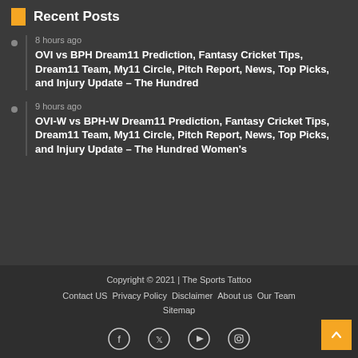Recent Posts
8 hours ago
OVI vs BPH Dream11 Prediction, Fantasy Cricket Tips, Dream11 Team, My11 Circle, Pitch Report, News, Top Picks, and Injury Update – The Hundred
9 hours ago
OVI-W vs BPH-W Dream11 Prediction, Fantasy Cricket Tips, Dream11 Team, My11 Circle, Pitch Report, News, Top Picks, and Injury Update – The Hundred Women's
Copyright © 2021 | The Sports Tattoo
Contact US  Privacy Policy  Disclaimer  About us  Our Team
Sitemap